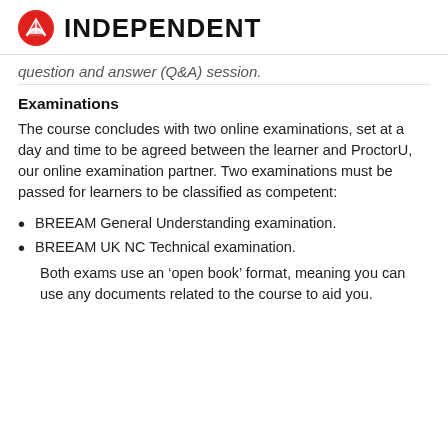INDEPENDENT
question and answer (Q&A) session.
Examinations
The course concludes with two online examinations, set at a day and time to be agreed between the learner and ProctorU, our online examination partner. Two examinations must be passed for learners to be classified as competent:
BREEAM General Understanding examination.
BREEAM UK NC Technical examination. Both exams use an ‘open book’ format, meaning you can use any documents related to the course to aid you.